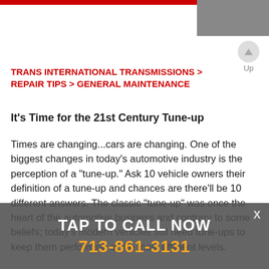TRANS INTERNATIONAL TRANSMISSIONS > REPAIR TIPS > GENERAL MAINTENANCE
It's Time for the 21st Century Tune-up
Times are changing...cars are changing. One of the biggest changes in today's automotive industry is the perception of a "tune-up." Ask 10 vehicle owners their definition of a tune-up and chances are there'll be 10 different answers. The classic "tune-up" was once the heart of the automotive business and contrary to some beliefs; today's modern vehicles still need tune-ups to keep them performing at the most efficient levels.
The tune-up was historically associated with the
[Figure (other): TAP TO CALL NOW overlay banner with phone number 713-861-3131 and close X button]